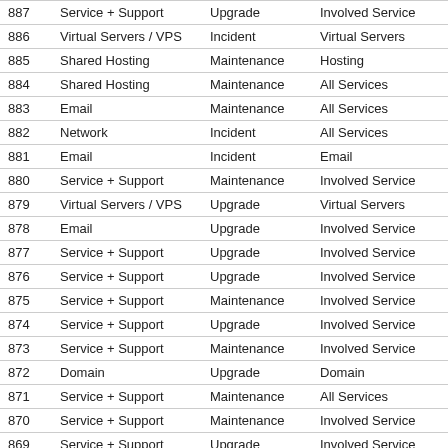| ID | Category | Type | Affected | Detail |
| --- | --- | --- | --- | --- |
| 887 | Service + Support | Upgrade | Involved Service | Upgra… |
| 886 | Virtual Servers / VPS | Incident | Virtual Servers | HN37… |
| 885 | Shared Hosting | Maintenance | Hosting | Secu… |
| 884 | Shared Hosting | Maintenance | All Services | Maint… |
| 883 | Email | Maintenance | All Services | Maint… |
| 882 | Network | Incident | All Services | Peeri… |
| 881 | Email | Incident | Email | SMTP… |
| 880 | Service + Support | Maintenance | Involved Service | Upgra… |
| 879 | Virtual Servers / VPS | Upgrade | Virtual Servers | Upgra… |
| 878 | Email | Upgrade | Involved Service | Upgra… |
| 877 | Service + Support | Upgrade | Involved Service | Upgra… |
| 876 | Service + Support | Upgrade | Involved Service | Upgra… |
| 875 | Service + Support | Maintenance | Involved Service | Forum… |
| 874 | Service + Support | Upgrade | Involved Service | Upgra… |
| 873 | Service + Support | Maintenance | Involved Service | Migra… |
| 872 | Domain | Upgrade | Domain | Doma… |
| 871 | Service + Support | Maintenance | All Services | Maint… |
| 870 | Service + Support | Maintenance | Involved Service | Upgra… |
| 869 | Service + Support | Upgrade | Involved Service | Upgra… |